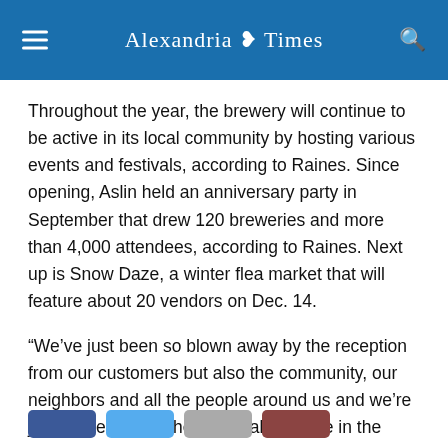Alexandria Times
Throughout the year, the brewery will continue to be active in its local community by hosting various events and festivals, according to Raines. Since opening, Aslin held an anniversary party in September that drew 120 breweries and more than 4,000 attendees, according to Raines. Next up is Snow Daze, a winter flea market that will feature about 20 vendors on Dec. 14.
“We’ve just been so blown away by the reception from our customers but also the community, our neighbors and all the people around us and we’re just excited for all the potential we have in the future to work with everybody around us,” Raines said.